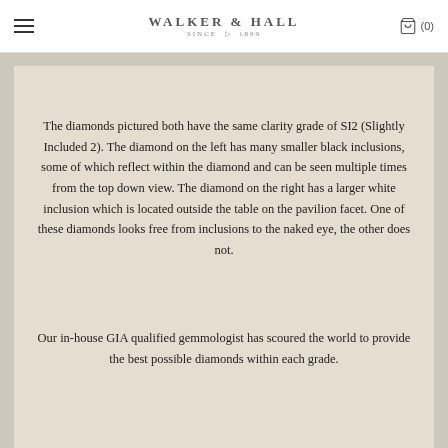WALKER & HALL SINCE 1899 (0)
The diamonds pictured both have the same clarity grade of SI2 (Slightly Included 2). The diamond on the left has many smaller black inclusions, some of which reflect within the diamond and can be seen multiple times from the top down view. The diamond on the right has a larger white inclusion which is located outside the table on the pavilion facet. One of these diamonds looks free from inclusions to the naked eye, the other does not.
Our in-house GIA qualified gemmologist has scoured the world to provide the best possible diamonds within each grade.